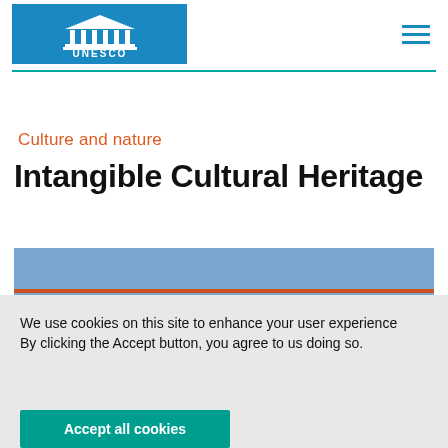UNESCO | Intangible Cultural Heritage
Culture and nature
Intangible Cultural Heritage
We use cookies on this site to enhance your user experience
By clicking the Accept button, you agree to us doing so.
Accept all cookies